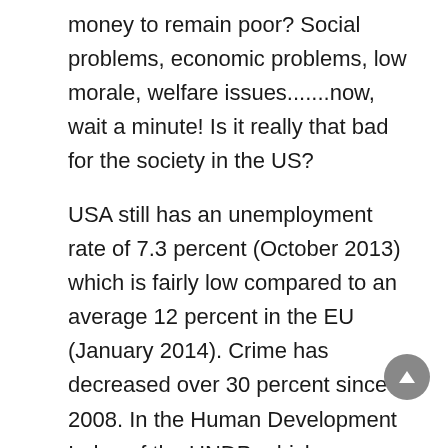money to remain poor? Social problems, economic problems, low morale, welfare issues.......now, wait a minute! Is it really that bad for the society in the US?
USA still has an unemployment rate of 7.3 percent (October 2013) which is fairly low compared to an average 12 percent in the EU (January 2014). Crime has decreased over 30 percent since 2008. In the Human Development Index of the UNDP, which measures various indicators of wellbeing, such as life expectancy or home ownership, USA still ranks 3rd worldwide while China is 101st. American universities are still the best around the world and the educational system is trying to correct its